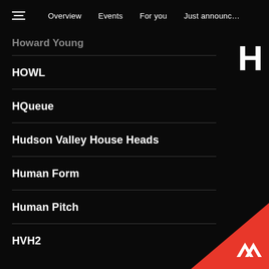Overview  Events  For you  Just announc…
Howard Young
HOWL
HQueue
Hudson Valley House Heads
Human Form
Human Pitch
HVH2